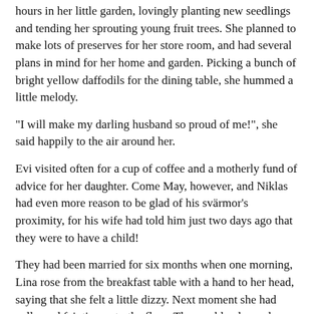hours in her little garden, lovingly planting new seedlings and tending her sprouting young fruit trees. She planned to make lots of preserves for her store room, and had several plans in mind for her home and garden. Picking a bunch of bright yellow daffodils for the dining table, she hummed a little melody.
"I will make my darling husband so proud of me!", she said happily to the air around her.
Evi visited often for a cup of coffee and a motherly fund of advice for her daughter. Come May, however, and Niklas had even more reason to be glad of his svärmor's proximity, for his wife had told him just two days ago that they were to have a child!
They had been married for six months when one morning, Lina rose from the breakfast table with a hand to her head, saying that she felt a little dizzy. Next moment she had collapsed fainting onto the floor. Thoroughly alarmed, Niklas dashed over to her and gathered her in his arms, relieved to see that already she was coming round. Picking her up, he carried her back upstairs and laid her on the bed, saying that he would fetch the doctor.
"No, darling, I am fine, I promise you", she assured him. "It was only a little momentary giddiness; I probably rushed around too much yesterday evening, for the restaurant was terribly busy and I did not have a chance to eat my supper." She smiled up at him.